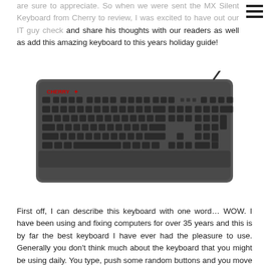are sure to appreciate. So when we were sent the MX Silent Keyboard from Cherry to review, I was excited to have out our IT guy check and share his thoughts with our readers as well as add this amazing keyboard to this years holiday guide!
[Figure (photo): Photo of a Cherry MX Silent mechanical keyboard, full-size layout with numpad, dark gray/black color with red Cherry logo in top-left corner]
First off, I can describe this keyboard with one word… WOW. I have been using and fixing computers for over 35 years and this is by far the best keyboard I have ever had the pleasure to use. Generally you don't think much about the keyboard that you might be using daily. You type, push some random buttons and you move on. But let me tell you, when